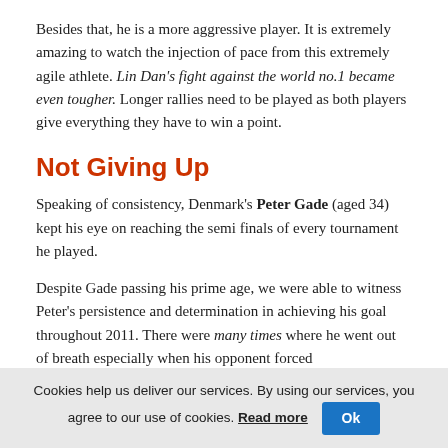Besides that, he is a more aggressive player. It is extremely amazing to watch the injection of pace from this extremely agile athlete. Lin Dan's fight against the world no.1 became even tougher. Longer rallies need to be played as both players give everything they have to win a point.
Not Giving Up
Speaking of consistency, Denmark's Peter Gade (aged 34) kept his eye on reaching the semi finals of every tournament he played.
Despite Gade passing his prime age, we were able to witness Peter's persistence and determination in achieving his goal throughout 2011. There were many times where he went out of breath especially when his opponent forced
Cookies help us deliver our services. By using our services, you agree to our use of cookies. Read more  Ok